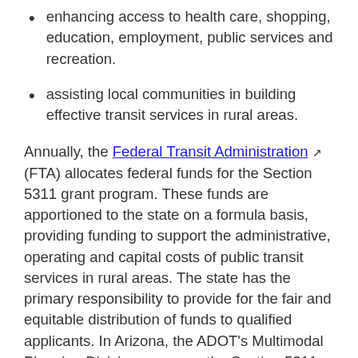enhancing access to health care, shopping, education, employment, public services and recreation.
assisting local communities in building effective transit services in rural areas.
Annually, the Federal Transit Administration (FTA) allocates federal funds for the Section 5311 grant program. These funds are apportioned to the state on a formula basis, providing funding to support the administrative, operating and capital costs of public transit services in rural areas. The state has the primary responsibility to provide for the fair and equitable distribution of funds to qualified applicants. In Arizona, the ADOT's Multimodal Planning Division manages the Section 5311 grant program. Funding is provided to counties, cities, towns and American Indian tribes to operate transit